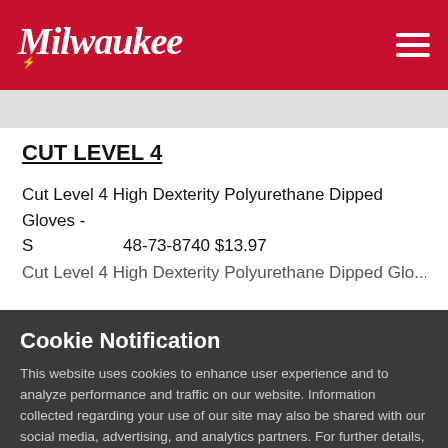[Figure (logo): Milwaukee Tool logo in white on red header background]
CUT LEVEL 4
Cut Level 4 High Dexterity Polyurethane Dipped Gloves - S    48-73-8740 $13.97
Cookie Notification
This website uses cookies to enhance user experience and to analyze performance and traffic on our website. Information collected regarding your use of our site may also be shared with our social media, advertising, and analytics partners. For further details, please review our Privacy Policy
Cookie Settings   Accept Cookies